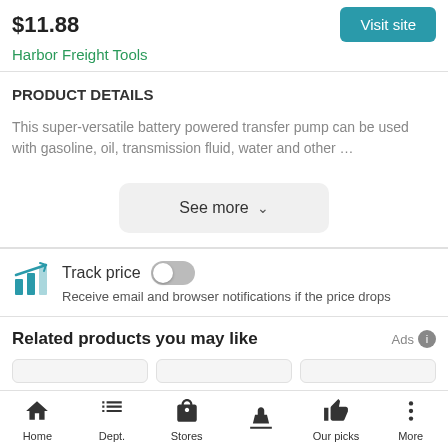$11.88
Visit site
Harbor Freight Tools
PRODUCT DETAILS
This super-versatile battery powered transfer pump can be used with gasoline, oil, transmission fluid, water and other …
See more
Track price
Receive email and browser notifications if the price drops
Related products you may like
Ads
Home  Dept.  Stores  Our picks  More